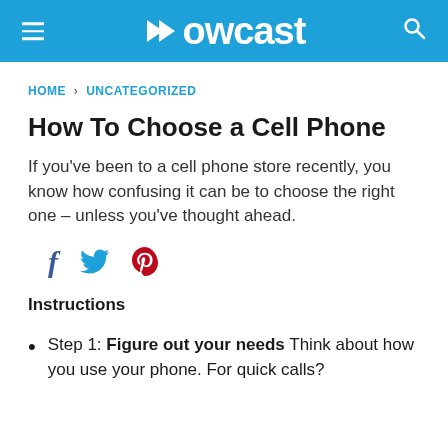Howcast
HOME › UNCATEGORIZED
How To Choose a Cell Phone
If you've been to a cell phone store recently, you know how confusing it can be to choose the right one – unless you've thought ahead.
[Figure (infographic): Social sharing icons: Facebook (f), Twitter (bird), Pinterest (p)]
Instructions
Step 1: Figure out your needs Think about how you use your phone. For quick calls?